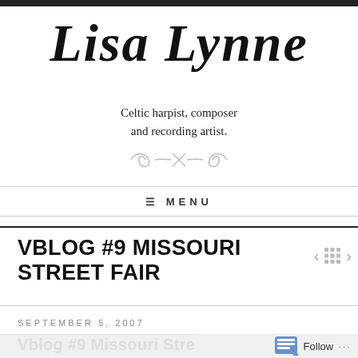Lisa Lynne
Celtic harpist, composer
and recording artist.
[Figure (illustration): Decorative ornamental divider / flourish in light gray]
≡ MENU
VBLOG #9 MISSOURI STREET FAIR
SEPTEMBER 5, 2007
[Figure (screenshot): Follow button widget at bottom right with grid icon and ellipsis]
Vblog #9 Missouri Stre...